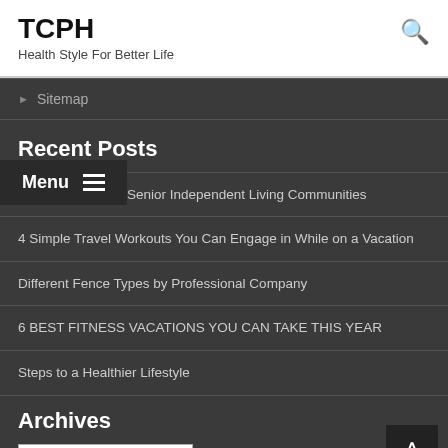TCPH
Health Style For Better Life
Sitemap
Recent Posts
Different Types of Senior Independent Living Communities
4 Simple Travel Workouts You Can Engage in While on a Vacation
Different Fence Types by Professional Company
6 BEST FITNESS VACATIONS YOU CAN TAKE THIS YEAR
Steps to a Healthier Lifestyle
Archives
Select Month